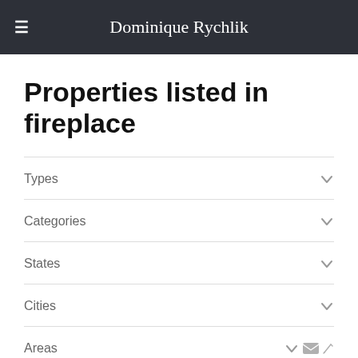Dominique Rychlik
Properties listed in fireplace
Types
Categories
States
Cities
Areas